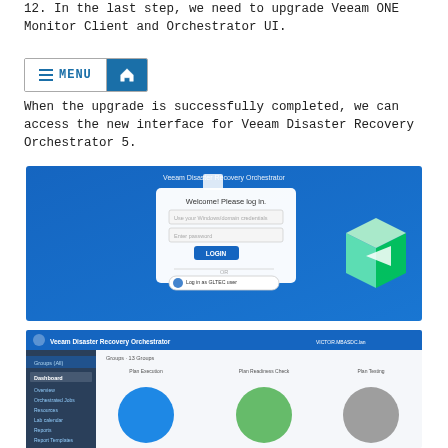12. In the last step, we need to upgrade Veeam ONE Monitor Client and Orchestrator UI.
[Figure (screenshot): Navigation bar with MENU button (hamburger icon and text) and home icon button]
When the upgrade is successfully completed, we can access the new interface for Veeam Disaster Recovery Orchestrator 5.
[Figure (screenshot): Veeam Disaster Recovery Orchestrator login screen with 'Welcome! Please log in.' form, username/password fields, LOGIN button, and 'Log in as GLTEC user' option. Green 3D cube logo on right.]
[Figure (screenshot): Veeam Disaster Recovery Orchestrator dashboard showing Plan Execution, Plan Readiness Check, and Plan Testing with pie/donut charts in blue, green, and gray.]